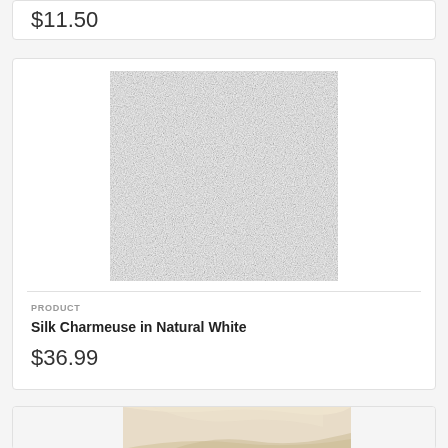$11.50
[Figure (photo): Fabric swatch of silk charmeuse in natural white — a square textile sample with a light, slightly textured white/light-gray surface]
PRODUCT
Silk Charmeuse in Natural White
$36.99
[Figure (photo): Partial photo of draped silk fabric in a cream/ivory color, shown at the bottom of the page]